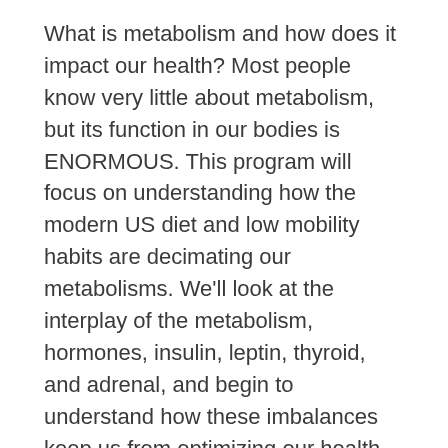What is metabolism and how does it impact our health? Most people know very little about metabolism, but its function in our bodies is ENORMOUS. This program will focus on understanding how the modern US diet and low mobility habits are decimating our metabolisms. We'll look at the interplay of the metabolism, hormones, insulin, leptin, thyroid, and adrenal, and begin to understand how these imbalances keep us from optimizing our health and weight.
Human beings have evolved in "survival mode" often subsisting on the bare minimums, but not the modern Western diet is centered around gluttony. Leave this program with a deeper understanding of